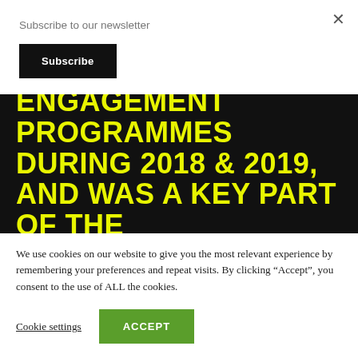Subscribe to our newsletter
Subscribe
ENGAGEMENT PROGRAMMES DURING 2018 & 2019, AND WAS A KEY PART OF THE
We use cookies on our website to give you the most relevant experience by remembering your preferences and repeat visits. By clicking “Accept”, you consent to the use of ALL the cookies.
Cookie settings
ACCEPT